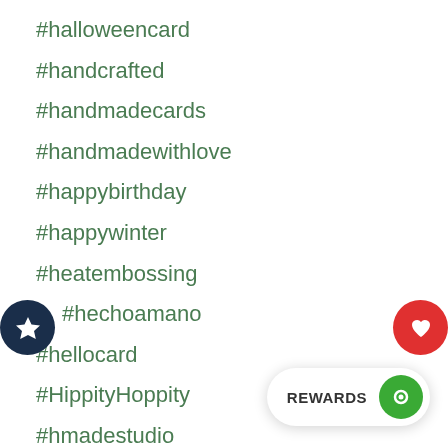#halloweencard
#handcrafted
#handmadecards
#handmadewithlove
#happybirthday
#happywinter
#heatembossing
#hechoamano
#hellocard
#HippityHoppity
#hmadestudio
#hohoho
#iconicbeautykiara
#inkingidaho